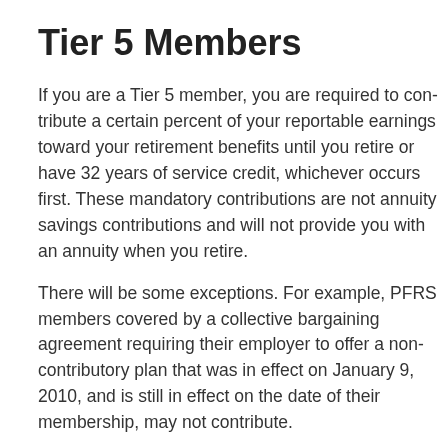Tier 5 Members
If you are a Tier 5 member, you are required to contribute a certain percent of your reportable earnings toward your retirement benefits until you retire or have 32 years of service credit, whichever occurs first. These mandatory contributions are not annuity savings contributions and will not provide you with an annuity when you retire.
There will be some exceptions. For example, PFRS members covered by a collective bargaining agreement requiring their employer to offer a non-contributory plan that was in effect on January 9, 2010, and is still in effect on the date of their membership, may not contribute.
Tier 6 Members